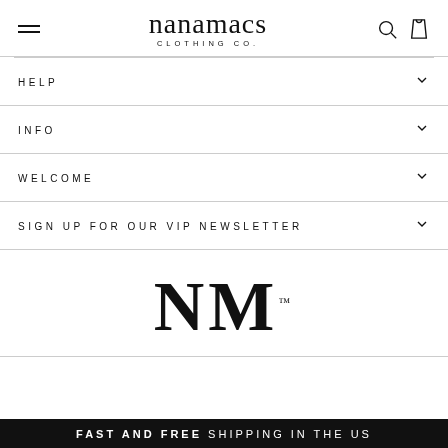nanamacs CLOTHING CO.
HELP
INFO
WELCOME
SIGN UP FOR OUR VIP NEWSLETTER
[Figure (logo): NM logo mark in large serif font with trademark symbol]
FAST AND FREE SHIPPING IN THE US